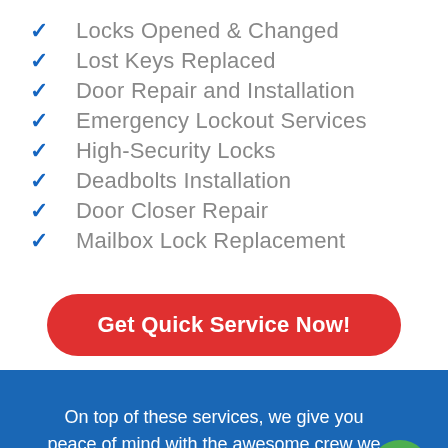Locks Opened & Changed
Lost Keys Replaced
Door Repair and Installation
Emergency Lockout Services
High-Security Locks
Deadbolts Installation
Door Closer Repair
Mailbox Lock Replacement
Get Quick Service Now!
On top of these services, we give you peace of mind with the awesome crew we have in our employ